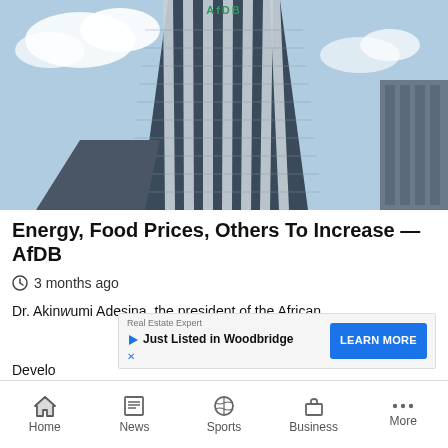[Figure (photo): Looking up at a tall cylindrical modern glass office tower with AfDB logo at top, against a partly cloudy blue sky]
Energy, Food Prices, Others To Increase — AfDB
3 months ago
Dr. Akinwumi Adesina, the president of the African Development Bank, ... costs of fertilise...
[Figure (screenshot): Advertisement banner: Real Estate Expert - Just Listed in Woodbridge - LEARN MORE button]
Home | News | Sports | Business | More